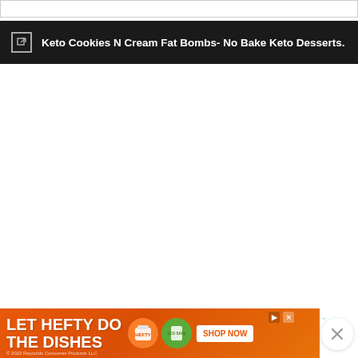[Figure (screenshot): Top empty search/address bar with light gray border]
Keto Cookies N Cream Fat Bombs- No Bake Keto Desserts.
[Figure (other): Large empty white content area (advertisement or image placeholder)]
[Figure (other): Heart/like button (teal circle with heart icon) showing count of 1, and share button below]
Vanilla extract and shaved dark chocolate give the blondies their personality. But what's truly exceptional is
[Figure (other): WHAT'S NEXT panel showing Low carb Chocolate... with thumbnail]
[Figure (other): LET HEFTY DO THE DISHES advertisement banner with product images and SHOP NOW button]